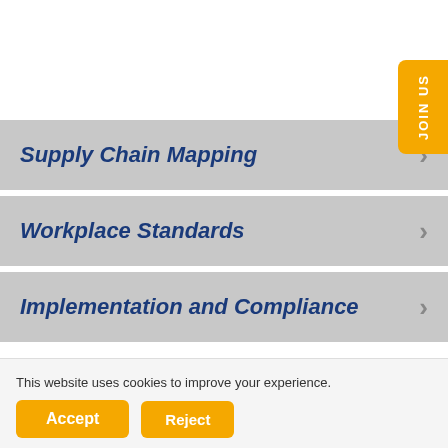Supply Chain Mapping
Workplace Standards
Implementation and Compliance
This website uses cookies to improve your experience.